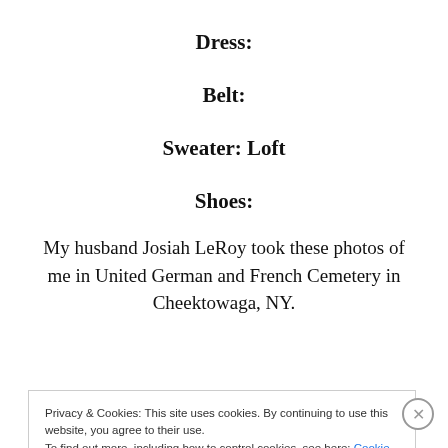Dress:
Belt:
Sweater: Loft
Shoes:
My husband Josiah LeRoy took these photos of me in United German and French Cemetery in Cheektowaga, NY.
Privacy & Cookies: This site uses cookies. By continuing to use this website, you agree to their use.
To find out more, including how to control cookies, see here: Cookie Policy